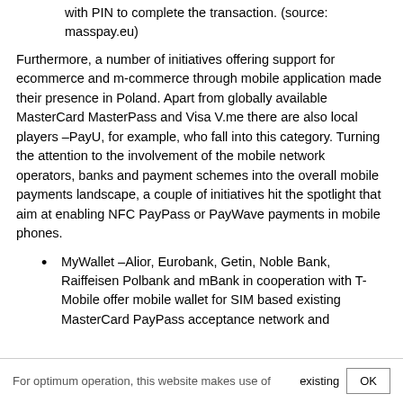with PIN to complete the transaction. (source: masspay.eu)
Furthermore, a number of initiatives offering support for ecommerce and m-commerce through mobile application made their presence in Poland. Apart from globally available MasterCard MasterPass and Visa V.me there are also local players –PayU, for example, who fall into this category. Turning the attention to the involvement of the mobile network operators, banks and payment schemes into the overall mobile payments landscape, a couple of initiatives hit the spotlight that aim at enabling NFC PayPass or PayWave payments in mobile phones.
MyWallet –Alior, Eurobank, Getin, Noble Bank, Raiffeisen Polbank and mBank in cooperation with T-Mobile offer mobile wallet for SIM based existing MasterCard PayPass acceptance network and
For optimum operation, this website makes use of